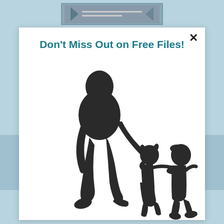Don't Miss Out on Free Files!
[Figure (illustration): Silhouette of an adult walking and holding hands with two children, one small toddler in the middle and an older child on the right, all in dark grey/black silhouette style on white background.]